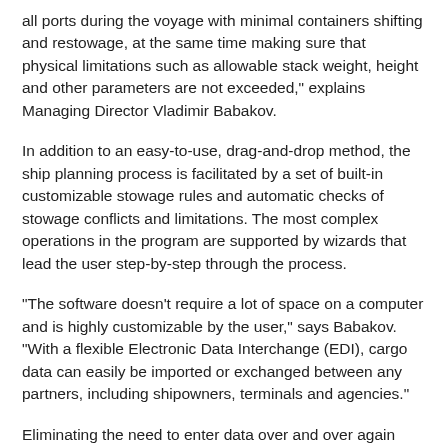all ports during the voyage with minimal containers shifting and restowage, at the same time making sure that physical limitations such as allowable stack weight, height and other parameters are not exceeded," explains Managing Director Vladimir Babakov.
In addition to an easy-to-use, drag-and-drop method, the ship planning process is facilitated by a set of built-in customizable stowage rules and automatic checks of stowage conflicts and limitations. The most complex operations in the program are supported by wizards that lead the user step-by-step through the process.
"The software doesn't require a lot of space on a computer and is highly customizable by the user," says Babakov. "With a flexible Electronic Data Interchange (EDI), cargo data can easily be imported or exchanged between any partners, including shipowners, terminals and agencies."
Eliminating the need to enter data over and over again creates savings in time and claims due to lost or mis-delivered cargo. "Port Captains mostly use laptops to work